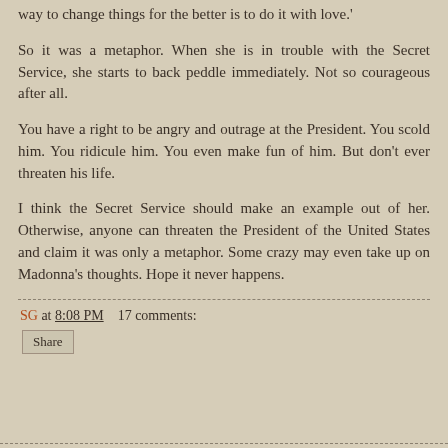way to change things for the better is to do it with love.'
So it was a metaphor. When she is in trouble with the Secret Service, she starts to back peddle immediately. Not so courageous after all.
You have a right to be angry and outrage at the President. You scold him. You ridicule him. You even make fun of him. But don't ever threaten his life.
I think the Secret Service should make an example out of her. Otherwise, anyone can threaten the President of the United States and claim it was only a metaphor. Some crazy may even take up on Madonna's thoughts. Hope it never happens.
SG at 8:08 PM    17 comments:
Share